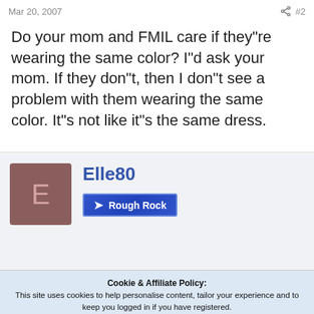Mar 20, 2007   #2
Do your mom and FMIL care if they"re wearing the same color? I"d ask your mom. If they don"t, then I don"t see a problem with them wearing the same color. It"s not like it"s the same dress.
Elle80  Rough Rock
Cookie & Affiliate Policy: This site uses cookies to help personalise content, tailor your experience and to keep you logged in if you have registered. We may generate affiliate revenue through the links/ads on this site. We NEVER accept paid reviews and take great pride in providing honest opinions and objective information on products & services. By continuing to use this site, you are consenting to our use of cookie policy.